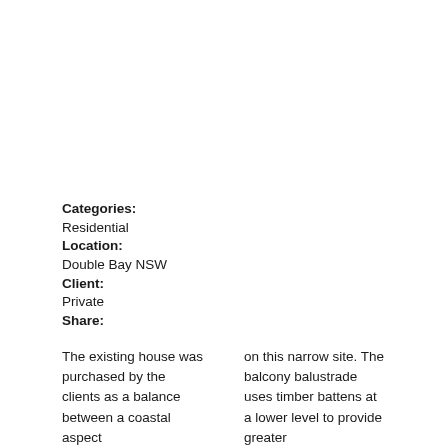Categories:
Residential
Location:
Double Bay NSW
Client:
Private
Share:
The existing house was purchased by the clients as a balance between a coastal aspect
on this narrow site. The balcony balustrade uses timber battens at a lower level to provide greater